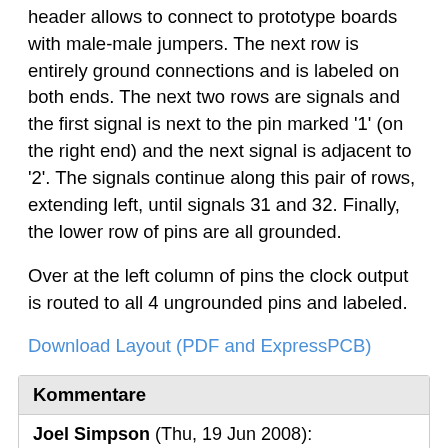header allows to connect to prototype boards with male-male jumpers. The next row is entirely ground connections and is labeled on both ends. The next two rows are signals and the first signal is next to the pin marked '1' (on the right end) and the next signal is adjacent to '2'. The signals continue along this pair of rows, extending left, until signals 31 and 32. Finally, the lower row of pins are all grounded.
Over at the left column of pins the clock output is routed to all 4 ungrounded pins and labeled.
Download Layout (PDF and ExpressPCB)
Kommentare
Joel Simpson (Thu, 19 Jun 2008):